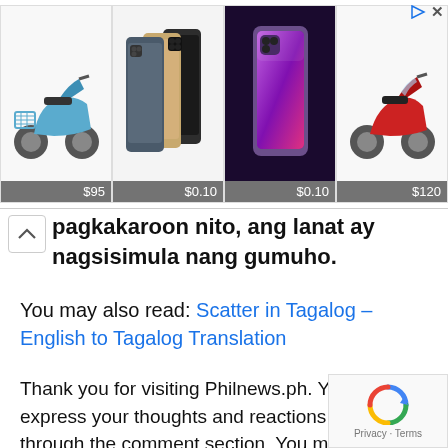[Figure (infographic): Advertisement banner showing 4 product items: blue electric scooter ($95), iPhone 12 Pro set ($0.10), iPhone 13 Pro ($0.10), red scooter ($120), and a red M logo (Marktplaats). Top right shows play and close icons.]
pagkakaroon nito, ang lanat ay nagsisimula nang gumuho.
You may also read: Scatter in Tagalog – English to Tagalog Translation
Thank you for visiting Philnews.ph. You may express your thoughts and reactions below through the comment section. You may also follow us on Facebook, on Twitter, and subscribe to our YouTube channel Philnews Ph.
[Figure (logo): reCAPTCHA logo with Privacy - Terms text]